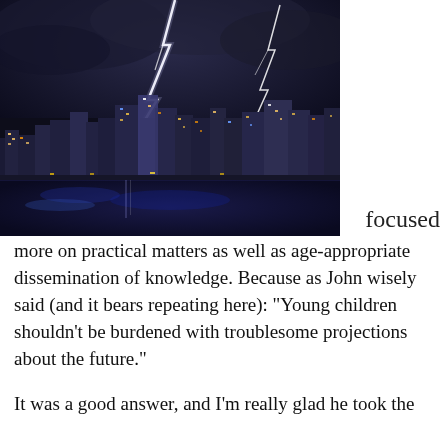[Figure (photo): A dramatic night photo of a city skyline (resembling New York City / Chicago) with large lightning bolts striking from dark storm clouds, reflected in the water below. The buildings are lit up with warm lights.]
focused more on practical matters as well as age-appropriate dissemination of knowledge. Because as John wisely said (and it bears repeating here): "Young children shouldn't be burdened with troublesome projections about the future."

It was a good answer, and I'm really glad he took the